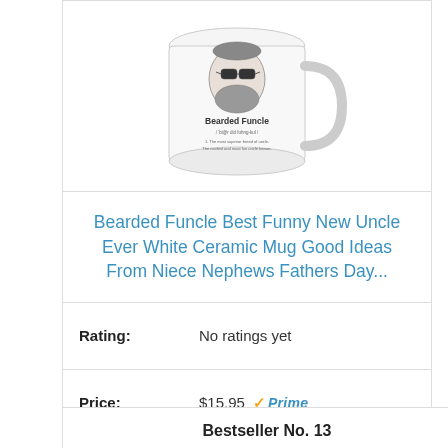[Figure (photo): White ceramic mug with 'Bearded Funcle' text and illustration of a bearded man wearing sunglasses]
Bearded Funcle Best Funny New Uncle Ever White Ceramic Mug Good Ideas From Niece Nephews Fathers Day...
Rating: No ratings yet
Price: $15.95 Prime
Buy on Amazon
Bestseller No. 13